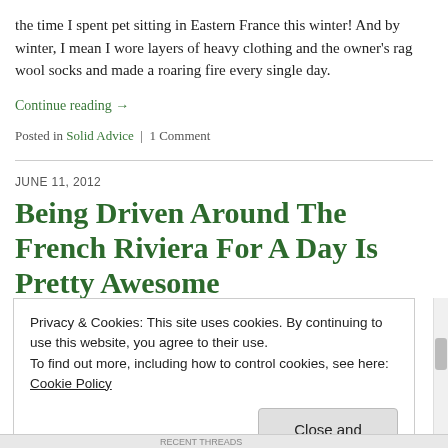the time I spent pet sitting in Eastern France this winter! And by winter, I mean I wore layers of heavy clothing and the owner's rag wool socks and made a roaring fire every single day.
Continue reading →
Posted in Solid Advice | 1 Comment
JUNE 11, 2012
Being Driven Around The French Riviera For A Day Is Pretty Awesome
Privacy & Cookies: This site uses cookies. By continuing to use this website, you agree to their use.
To find out more, including how to control cookies, see here: Cookie Policy
Close and accept